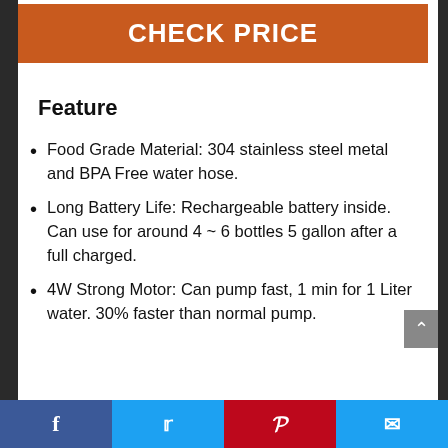CHECK PRICE
Feature
Food Grade Material: 304 stainless steel metal and BPA Free water hose.
Long Battery Life: Rechargeable battery inside. Can use for around 4 ~ 6 bottles 5 gallon after a full charged.
4W Strong Motor: Can pump fast, 1 min for 1 Liter water. 30% faster than normal pump.
Facebook Twitter Pinterest Email